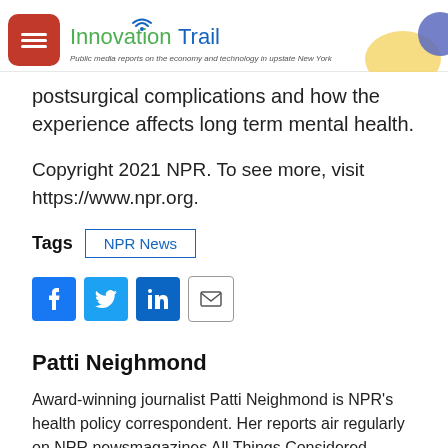Innovation Trail – Public media reports on the economy and technology in upstate New York
postsurgical complications and how the experience affects long term mental health.
Copyright 2021 NPR. To see more, visit https://www.npr.org.
Tags  NPR News
[Figure (other): Social sharing buttons: Facebook, Twitter, LinkedIn, Email]
Patti Neighmond
Award-winning journalist Patti Neighmond is NPR's health policy correspondent. Her reports air regularly on NPR newsmagazines All Things Considered, Morning Edition